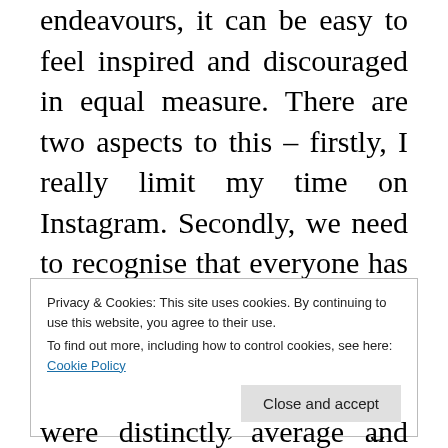endeavours, it can be easy to feel inspired and discouraged in equal measure. There are two aspects to this – firstly, I really limit my time on Instagram. Secondly, we need to recognise that everyone has a different starting point. Some people are just starting the journey, others are well down the road, others might be like me
Privacy & Cookies: This site uses cookies. By continuing to use this website, you agree to their use. To find out more, including how to control cookies, see here: Cookie Policy
were distinctly average and downright